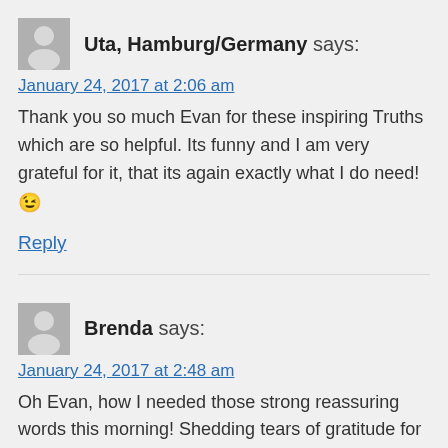[Figure (illustration): Gray avatar placeholder icon showing a person silhouette]
Uta, Hamburg/Germany says:
January 24, 2017 at 2:06 am
Thank you so much Evan for these inspiring Truths which are so helpful. Its funny and I am very grateful for it, that its again exactly what I do need! 😉
Reply
[Figure (illustration): Gray avatar placeholder icon showing a person silhouette]
Brenda says:
January 24, 2017 at 2:48 am
Oh Evan, how I needed those strong reassuring words this morning! Shedding tears of gratitude for this lovely angel message